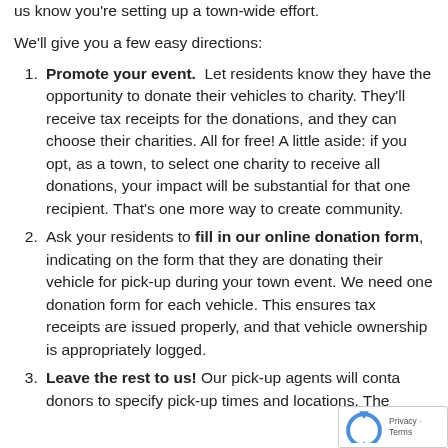us know you're setting up a town-wide effort.
We'll give you a few easy directions:
Promote your event.  Let residents know they have the opportunity to donate their vehicles to charity. They'll receive tax receipts for the donations, and they can choose their charities. All for free! A little aside: if you opt, as a town, to select one charity to receive all donations, your impact will be substantial for that one recipient. That's one more way to create community.
Ask your residents to fill in our online donation form, indicating on the form that they are donating their vehicle for pick-up during your town event. We need one donation form for each vehicle. This ensures tax receipts are issued properly, and that vehicle ownership is appropriately logged.
Leave the rest to us! Our pick-up agents will conta donors to specify pick-up times and locations. The